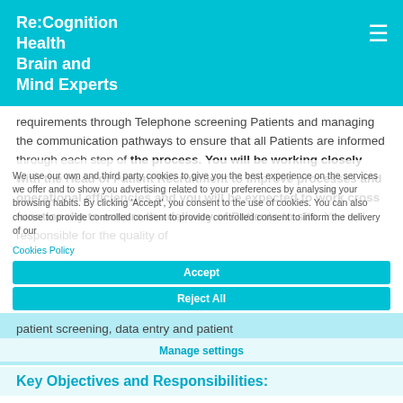[Figure (logo): Re:Cognition Health Brain and Mind Experts logo in white text on cyan background, with hamburger menu icon]
requirements through Telephone screening Patients and managing the communication pathways to ensure that all Patients are informed through each step of the process. You will be working closely with the Head of Patient Recruitment to improve processes and operational efficiencies and you will be expected to work cross functionally to ensure the delivery of Patients to site. You will responsible for the quality of patient screening, data entry and patient communications.
We use our own and third party cookies to give you the best experience on the services we offer and to show you advertising related to your preferences by analysing your browsing habits. By clicking 'Accept', you consent to the use of cookies. You can also choose to provide controlled consent to inform the delivery of our Cookies Policy
Accept
Reject All
Key Objectives and Responsibilities:
Manage settings
Management of Patient referrals